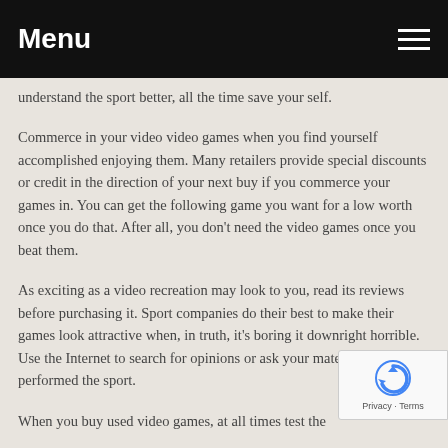Menu
understand the sport better, all the time save your self.
Commerce in your video video games when you find yourself accomplished enjoying them. Many retailers provide special discounts or credit in the direction of your next buy if you commerce your games in. You can get the following game you want for a low worth once you do that. After all, you don't need the video games once you beat them.
As exciting as a video recreation may look to you, read its reviews before purchasing it. Sport companies do their best to make their games look attractive when, in truth, it's boring it downright horrible. Use the Internet to search for opinions or ask your mates who've performed the sport.
When you buy used video games, at all times test the